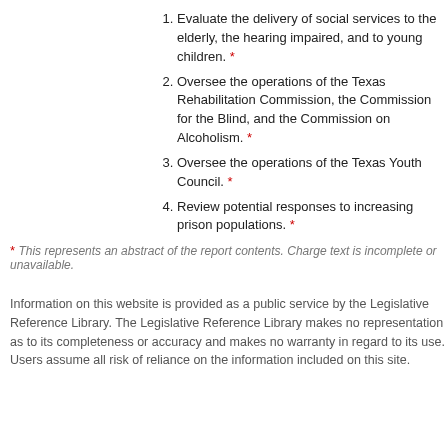Evaluate the delivery of social services to the elderly, the hearing impaired, and to young children. *
Oversee the operations of the Texas Rehabilitation Commission, the Commission for the Blind, and the Commission on Alcoholism. *
Oversee the operations of the Texas Youth Council. *
Review potential responses to increasing prison populations. *
* This represents an abstract of the report contents. Charge text is incomplete or unavailable.
Information on this website is provided as a public service by the Legislative Reference Library. The Legislative Reference Library makes no representation as to its completeness or accuracy and makes no warranty in regard to its use. Users assume all risk of reliance on the information included on this site.